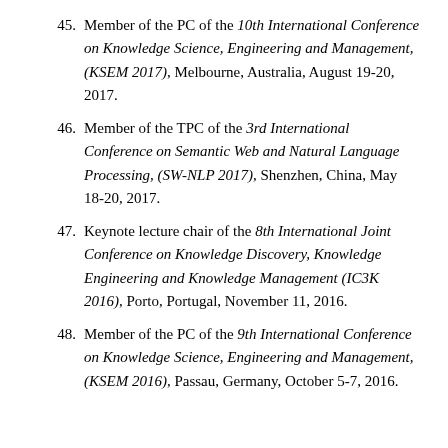45. Member of the PC of the 10th International Conference on Knowledge Science, Engineering and Management, (KSEM 2017), Melbourne, Australia, August 19-20, 2017.
46. Member of the TPC of the 3rd International Conference on Semantic Web and Natural Language Processing, (SW-NLP 2017), Shenzhen, China, May 18-20, 2017.
47. Keynote lecture chair of the 8th International Joint Conference on Knowledge Discovery, Knowledge Engineering and Knowledge Management (IC3K 2016), Porto, Portugal, November 11, 2016.
48. Member of the PC of the 9th International Conference on Knowledge Science, Engineering and Management, (KSEM 2016), Passau, Germany, October 5-7, 2016.